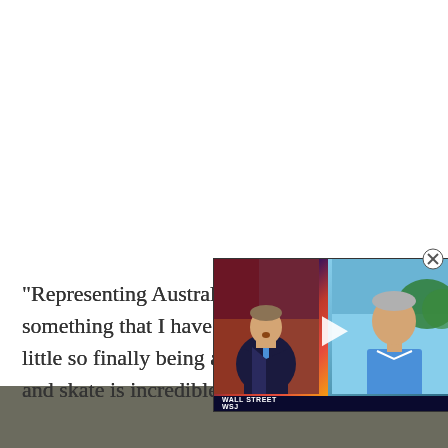“Representing Australia at the Olympics is something that I have wanted since I was little so finally being able to come here and skate is incredible,” she
[Figure (screenshot): A video overlay showing two men in a TV news interview format. The left figure appears to be a news anchor in a dark suit with a blue tie, set against a colorful studio background. The right figure is a guest in a light blue shirt outdoors. A play button triangle is visible in the center. A Wall Street Journal (WSJ) logo bar appears at the bottom of the video frame.]